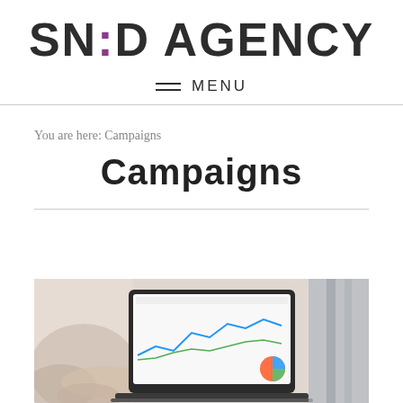SN:D AGENCY
MENU
You are here: Campaigns
Campaigns
[Figure (photo): Person working at a laptop showing analytics charts and graphs, viewed from above/side angle in an office setting.]